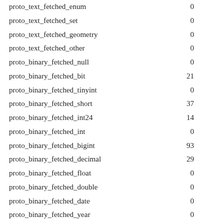| name | value |
| --- | --- |
| proto_text_fetched_enum | 0 |
| proto_text_fetched_set | 0 |
| proto_text_fetched_geometry | 0 |
| proto_text_fetched_other | 0 |
| proto_binary_fetched_null | 0 |
| proto_binary_fetched_bit | 21 |
| proto_binary_fetched_tinyint | 0 |
| proto_binary_fetched_short | 37 |
| proto_binary_fetched_int24 | 14 |
| proto_binary_fetched_int | 0 |
| proto_binary_fetched_bigint | 93 |
| proto_binary_fetched_decimal | 29 |
| proto_binary_fetched_float | 0 |
| proto_binary_fetched_double | 0 |
| proto_binary_fetched_date | 0 |
| proto_binary_fetched_year | 0 |
| proto_binary_fetched_time | 0 |
| proto_binary_fetched_datetime | 0 |
| proto_binary_fetched_timestamp | 0 |
| proto_binary_fetched_string | 0 |
| proto_binary_fetched_json | 197 |